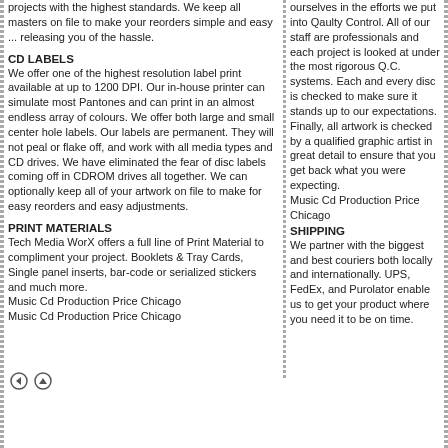projects with the highest standards. We keep all masters on file to make your reorders simple and easy ... releasing you of the hassle.
CD LABELS
We offer one of the highest resolution label print available at up to 1200 DPI. Our in-house printer can simulate most Pantones and can print in an almost endless array of colours. We offer both large and small center hole labels. Our labels are permanent. They will not peal or flake off, and work with all media types and CD drives. We have eliminated the fear of disc labels coming off in CDROM drives all together. We can optionally keep all of your artwork on file to make for easy reorders and easy adjustments.
PRINT MATERIALS
Tech Media WorX offers a full line of Print Material to compliment your project. Booklets & Tray Cards, Single panel inserts, bar-code or serialized stickers and much more.
Music Cd Production Price Chicago
Music Cd Production Price Chicago
ourselves in the efforts we put into Qaulty Control. All of our staff are professionals and each project is looked at under the most rigorous Q.C. systems. Each and every disc is checked to make sure it stands up to our expectations. Finally, all artwork is checked by a qualified graphic artist in great detail to ensure that you get back what you were expecting.
Music Cd Production Price Chicago
SHIPPING
We partner with the biggest and best couriers both locally and internationally. UPS, FedEx, and Purolator enable us to get your product where you need it to be on time.